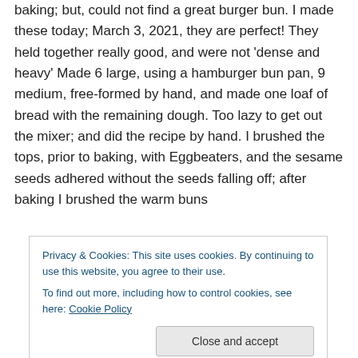baking; but, could not find a great burger bun. I made these today; March 3, 2021, they are perfect! They held together really good, and were not 'dense and heavy' Made 6 large, using a hamburger bun pan, 9 medium, free-formed by hand, and made one loaf of bread with the remaining dough. Too lazy to get out the mixer; and did the recipe by hand. I brushed the tops, prior to baking, with Eggbeaters, and the sesame seeds adhered without the seeds falling off; after baking I brushed the warm buns
Privacy & Cookies: This site uses cookies. By continuing to use this website, you agree to their use.
To find out more, including how to control cookies, see here: Cookie Policy
Close and accept
↳ Reply